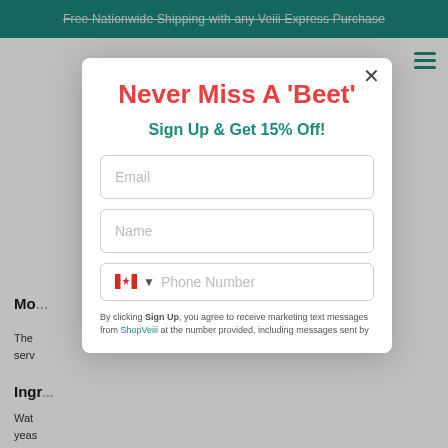Free Nationwide Shipping with any Veiii Express Purchase
Mo...
The... serv... s.
Ingr...
Wat... yeas... Chic... pap... Con... bell... stra... Yea... Vita... pyri...
Never Miss A 'Beet'
Sign Up & Get 15% Off!
Email
Name
Phone Number
By clicking Sign Up, you agree to receive marketing text messages from ShopVeiii at the number provided, including messages sent by